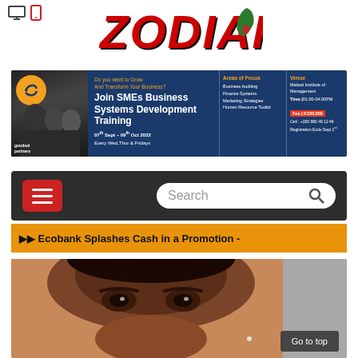Icons: monitor, mobile
ZODIAK
[Figure (photo): Goodsol Partners advertisement banner for SMEs Business Systems Development Training, 07 Sept - 09 Oct 2022, Areas of Focus: Business Auditing, Finance Systems, Marketing Strategies, Human Resource Toolkit, Venue: Malawi Institute of Management, Time: 01:00-04:00PM, Fee: K180,000]
[Figure (screenshot): Dark navigation bar with red hamburger menu button on left and rounded search box on right with magnifying glass icon]
⏩⏩ Ecobank Splashes Cash in a Promotion -
[Figure (photo): Close-up photo of a smiling woman's face, cropped to show eyes, nose and cheek area, with grey background on right side. A 'Go to top' button overlay in bottom right.]